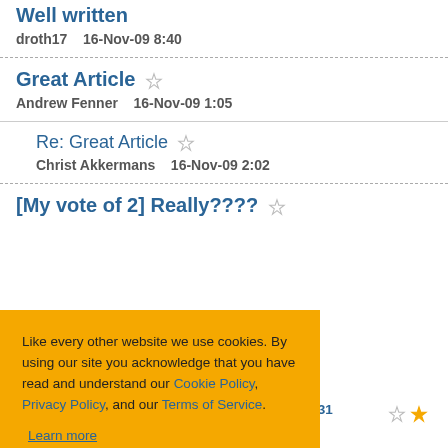Well written
droth17    16-Nov-09 8:40
Great Article
Andrew Fenner    16-Nov-09 1:05
Re: Great Article
Christ Akkermans    16-Nov-09 2:02
[My vote of 2] Really????
Like every other website we use cookies. By using our site you acknowledge that you have read and understand our Cookie Policy, Privacy Policy, and our Terms of Service. Learn more
Ask me later   Decline   Allow cookies
Christ Akkermans    12-Nov-09 22:31